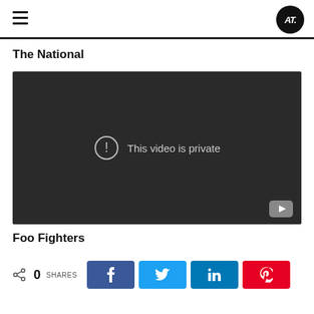AT logo and hamburger menu
The National
[Figure (screenshot): Embedded video player showing 'This video is private' message with exclamation icon and YouTube logo in bottom-right corner]
Foo Fighters
0 SHARES — social share buttons: Facebook, Twitter, LinkedIn, Pinterest